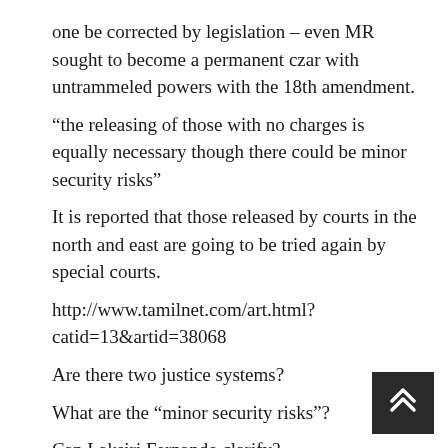one be corrected by legislation – even MR sought to become a permanent czar with untrammeled powers with the 18th amendment.
“the releasing of those with no charges is equally necessary though there could be minor security risks”
It is reported that those released by courts in the north and east are going to be tried again by special courts.
http://www.tamilnet.com/art.html?catid=13&artid=38068
Are there two justice systems?
What are the “minor security risks”?
Can Laksiri Fernando clarify?